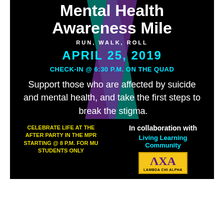Mental Health Awareness Mile
RUN, WALK, ROLL
APRIL 25, 2019
CHECK-IN @ 6:30 P.M. ON THE QUAD
Support those who are affected by suicide and mental health, and take the first steps to  break the stigma.
Register for the event through MU ticket booth
CELEBRATE LIFE AT THE AFTER PARTY IN THE MPR STARTING @ 8 P.M. FOR MU STUDENTS ONLY
In collaboration with Living Learning Community
[Figure (logo): Lambda Chi Alpha (ΛΧΑ) fraternity logo on yellow background]